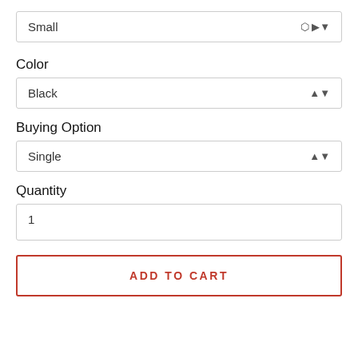Small
Color
Black
Buying Option
Single
Quantity
1
ADD TO CART